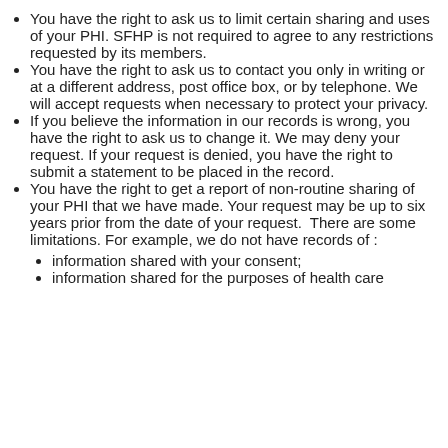You have the right to ask us to limit certain sharing and uses of your PHI. SFHP is not required to agree to any restrictions requested by its members.
You have the right to ask us to contact you only in writing or at a different address, post office box, or by telephone. We will accept requests when necessary to protect your privacy.
If you believe the information in our records is wrong, you have the right to ask us to change it. We may deny your request. If your request is denied, you have the right to submit a statement to be placed in the record.
You have the right to get a report of non-routine sharing of your PHI that we have made. Your request may be up to six years prior from the date of your request.  There are some limitations. For example, we do not have records of :
information shared with your consent;
information shared for the purposes of health care